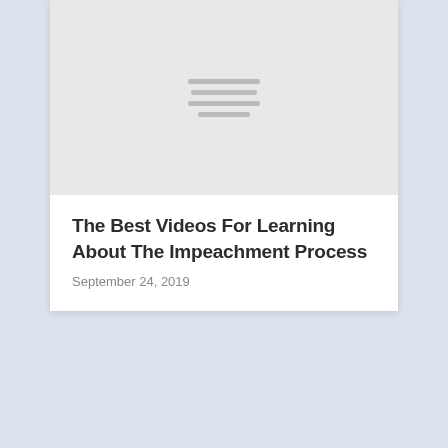[Figure (illustration): Light gray image placeholder with centered hamburger/list icon lines in a slightly darker gray, representing a loading or placeholder image thumbnail for a video card]
The Best Videos For Learning About The Impeachment Process
September 24, 2019